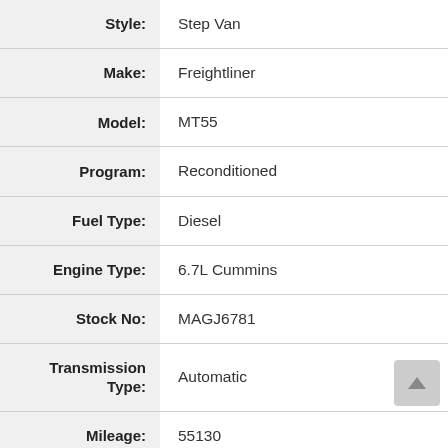| Label | Value |
| --- | --- |
| Style: | Step Van |
| Make: | Freightliner |
| Model: | MT55 |
| Program: | Reconditioned |
| Fuel Type: | Diesel |
| Engine Type: | 6.7L Cummins |
| Stock No: | MAGJ6781 |
| Transmission Type: | Automatic |
| Mileage: | 55130 |